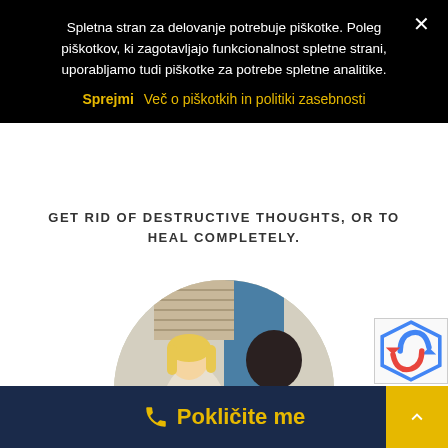Spletna stran za delovanje potrebuje piškotke. Poleg piškotkov, ki zagotavljajo funkcionalnost spletne strani, uporabljamo tudi piškotke za potrebe spletne analitike.
Sprejmi   Več o piškotkih in politiki zasebnosti
GET RID OF DESTRUCTIVE THOUGHTS, OR TO HEAL COMPLETELY.
[Figure (photo): Circular photo of a therapy session: a female patient with blonde hair sitting on an orange chair holding papers, facing a male therapist in a white polo shirt, in a clinical room with blue partition]
☎ Pokličite me